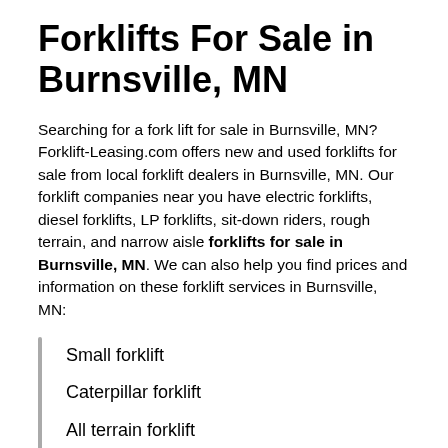Forklifts For Sale in Burnsville, MN
Searching for a fork lift for sale in Burnsville, MN? Forklift-Leasing.com offers new and used forklifts for sale from local forklift dealers in Burnsville, MN. Our forklift companies near you have electric forklifts, diesel forklifts, LP forklifts, sit-down riders, rough terrain, and narrow aisle forklifts for sale in Burnsville, MN. We can also help you find prices and information on these forklift services in Burnsville, MN:
Small forklift
Caterpillar forklift
All terrain forklift
Crown forklifts
Fork truck